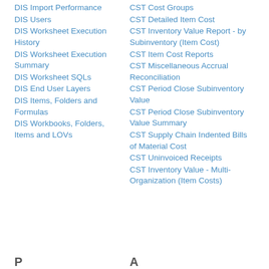DIS Import Performance
DIS Users
DIS Worksheet Execution History
DIS Worksheet Execution Summary
DIS Worksheet SQLs
DIS End User Layers
DIS Items, Folders and Formulas
DIS Workbooks, Folders, Items and LOVs
CST Cost Groups
CST Detailed Item Cost
CST Inventory Value Report - by Subinventory (Item Cost)
CST Item Cost Reports
CST Miscellaneous Accrual Reconciliation
CST Period Close Subinventory Value
CST Period Close Subinventory Value Summary
CST Supply Chain Indented Bills of Material Cost
CST Uninvoiced Receipts
CST Inventory Value - Multi-Organization (Item Costs)